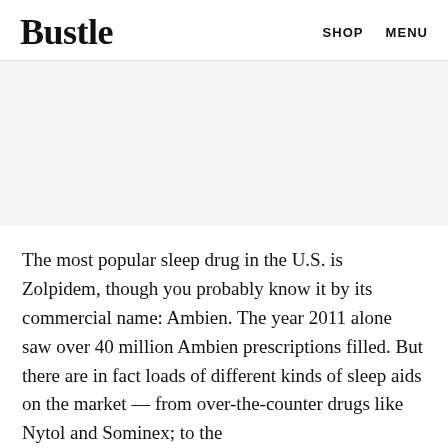Bustle   SHOP   MENU
[Figure (other): Advertisement banner placeholder area with light gray background]
The most popular sleep drug in the U.S. is Zolpidem, though you probably know it by its commercial name: Ambien. The year 2011 alone saw over 40 million Ambien prescriptions filled. But there are in fact loads of different kinds of sleep aids on the market — from over-the-counter drugs like Nytol and Sominex; to the